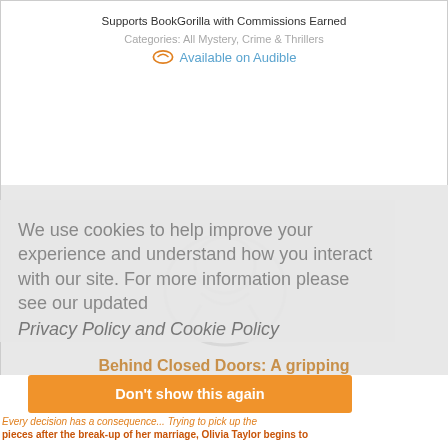Supports BookGorilla with Commissions Earned
Categories: All Mystery, Crime & Thrillers
Available on Audible
[Figure (photo): Book cover placeholder image with light gray background and faint gorilla watermark]
We use cookies to help improve your experience and understand how you interact with our site. For more information please see our updated
Privacy Policy and Cookie Policy
Behind Closed Doors: A gripping psychological thriller by Kathryn Croft
Don't show this again
Every decision has a consequence... Trying to pick up the pieces after the break-up of her marriage, Olivia Taylor begins to